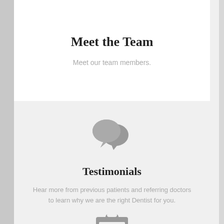Meet the Team
Meet our team members.
[Figure (illustration): Two overlapping speech bubble icons in gray, representing a chat/comments icon]
Testimonials
Hear more from previous patients and referring doctors to learn why we are the right Dentist for you.
[Figure (illustration): A clipboard icon with bullet points/lines, shown partially at the bottom of the page]